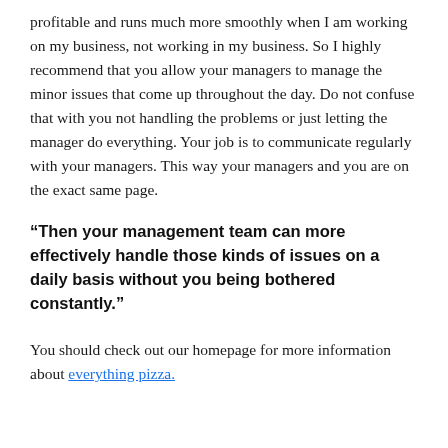profitable and runs much more smoothly when I am working on my business, not working in my business. So I highly recommend that you allow your managers to manage the minor issues that come up throughout the day. Do not confuse that with you not handling the problems or just letting the manager do everything. Your job is to communicate regularly with your managers. This way your managers and you are on the exact same page.
“Then your management team can more effectively handle those kinds of issues on a daily basis without you being bothered constantly.”
You should check out our homepage for more information about everything pizza.